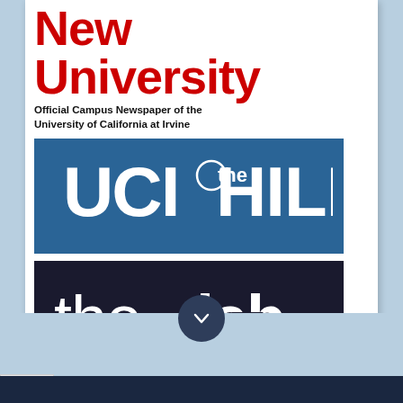New University
Official Campus Newspaper of the University of California at Irvine
[Figure (logo): UCI The HILL logo on blue background]
[Figure (logo): the lab logo on dark navy background]
[Figure (logo): GARDENAMP logo on black background]
n't load